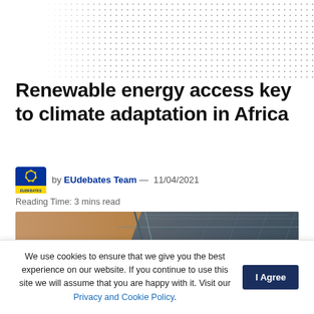[Figure (illustration): Dotted pattern background header area]
Renewable energy access key to climate adaptation in Africa
by EUdebates Team — 11/04/2021
Reading Time: 3 mins read
[Figure (photo): Close-up photograph of solar panels against a warm sky/desert background]
We use cookies to ensure that we give you the best experience on our website. If you continue to use this site we will assume that you are happy with it. Visit our Privacy and Cookie Policy.